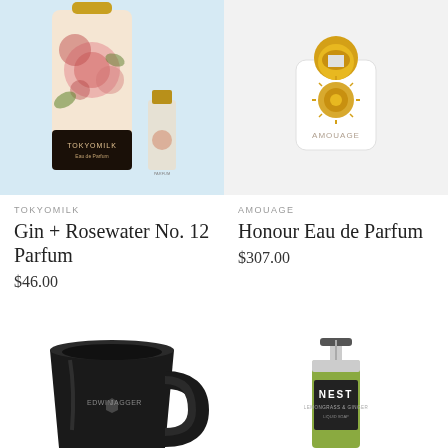[Figure (photo): TokyoMilk Gin + Rosewater No. 12 Parfum product photo showing a floral cylindrical box and small glass bottle on light blue background]
[Figure (photo): Amouage Honour Eau de Parfum product photo showing a white square bottle with gold dome cap on white background]
TOKYOMILK
Gin + Rosewater No. 12 Parfum
$46.00
AMOUAGE
Honour Eau de Parfum
$307.00
[Figure (photo): Edwin Jagger black ceramic shaving mug with handle and brand logo, shown from front on white background]
[Figure (photo): NEST brand green liquid soap dispenser with black pump and label, shown on white background]